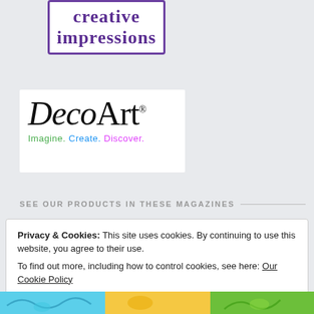[Figure (logo): Creative Impressions logo — purple outlined box with stylized text 'creative impressions' in purple]
[Figure (logo): DecoArt logo — black decorative serif text 'DecoArt' with registered trademark, tagline 'Imagine. Create. Discover.' in green, blue, and purple]
SEE OUR PRODUCTS IN THESE MAGAZINES
Privacy & Cookies: This site uses cookies. By continuing to use this website, you agree to their use.
To find out more, including how to control cookies, see here: Our Cookie Policy
Close and accept
[Figure (illustration): Colorful illustrated image strip at the bottom showing nature/floral artwork in teal, yellow and green]